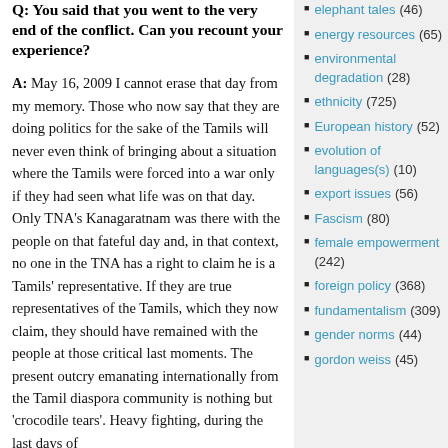Q: You said that you went to the very end of the conflict. Can you recount your experience?
A: May 16, 2009 I cannot erase that day from my memory. Those who now say that they are doing politics for the sake of the Tamils will never even think of bringing about a situation where the Tamils were forced into a war only if they had seen what life was on that day. Only TNA's Kanagaratnam was there with the people on that fateful day and, in that context, no one in the TNA has a right to claim he is a Tamils' representative. If they are true representatives of the Tamils, which they now claim, they should have remained with the people at those critical last moments. The present outcry emanating internationally from the Tamil diaspora community is nothing but 'crocodile tears'. Heavy fighting, during the last days of
elephant tales (46)
energy resources (65)
environmental degradation (28)
ethnicity (725)
European history (52)
evolution of languages(s) (10)
export issues (56)
Fascism (80)
female empowerment (242)
foreign policy (368)
fundamentalism (309)
gender norms (44)
gordon weiss (45)